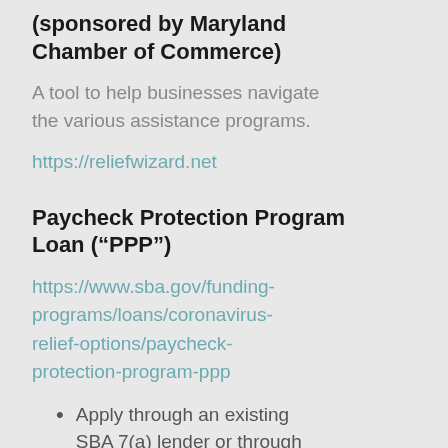(sponsored by Maryland Chamber of Commerce)
A tool to help businesses navigate the various assistance programs.
https://reliefwizard.net
Paycheck Protection Program Loan (“PPP”)
https://www.sba.gov/funding-programs/loans/coronavirus-relief-options/paycheck-protection-program-ppp
Apply through an existing SBA 7(a) lender or through any federally insured depository institution